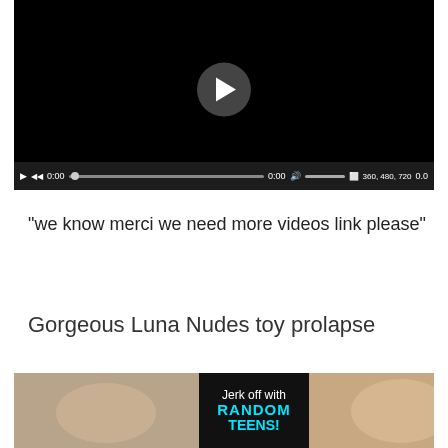[Figure (screenshot): Video player with black background, play button circle in center, and controls bar at bottom showing play/rewind buttons, timecode 0:00, seek bar, volume, quality options 360/480/720, and 0.0 indicator]
"we know merci we need more videos link please"
Gorgeous Luna Nudes toy prolapse
[Figure (screenshot): Bottom banner image showing two thumbnail photos of a blonde woman on a couch with a dark center overlay reading 'Jerk off with RANDOM TEENS!']